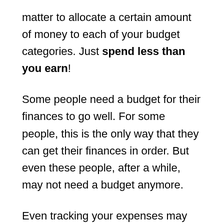matter to allocate a certain amount of money to each of your budget categories. Just spend less than you earn!
Some people need a budget for their finances to go well. For some people, this is the only way that they can get their finances in order. But even these people, after a while, may not need a budget anymore.
Even tracking your expenses may not be necessary for the long term. It is something I enjoy. But this is something that many people do not like doing. And once you have done it for a long time,